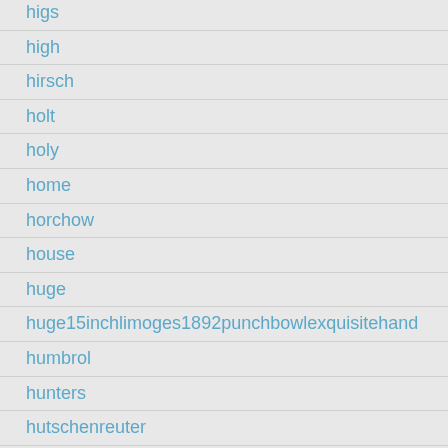higs
high
hirsch
holt
holy
home
horchow
house
huge
huge15inchlimoges1892punchbowlexquisitehand
humbrol
hunters
hutschenreuter